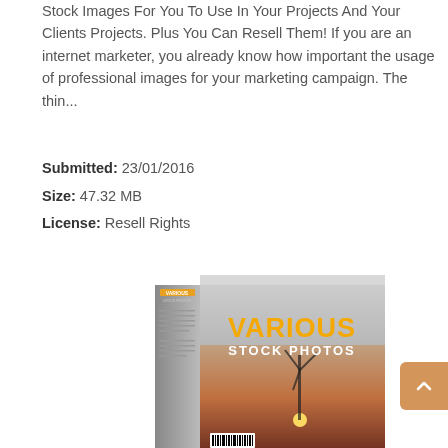Stock Images For You To Use In Your Projects And Your Clients Projects. Plus You Can Resell Them! If you are an internet marketer, you already know how important the usage of professional images for your marketing campaign. The thin...
Submitted: 23/01/2016
Size: 47.32 MB
License: Resell Rights
[Figure (photo): A product box image labeled 'Various Stock Photos' with a sunset/windmill photo visible on the front, yellow bold text reading 'VARIOUS' and white text 'STOCK PHOTOS', with a spine and barcode visible.]